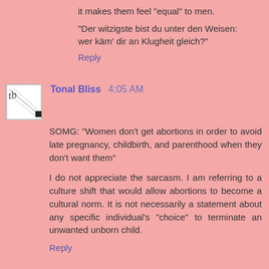it makes them feel "equal" to men.
"Der witzigste bist du unter den Weisen: wer käm' dir an Klugheit gleich?"
Reply
Tonal Bliss  4:05 AM
SOMG: "Women don't get abortions in order to avoid late pregnancy, childbirth, and parenthood when they don't want them"
I do not appreciate the sarcasm. I am referring to a culture shift that would allow abortions to become a cultural norm. It is not necessarily a statement about any specific individual's "choice" to terminate an unwanted unborn child.
Reply
OperationCounterstrike  1:44 AM
SomeMa, what you actually WROTE was "Abortion be...